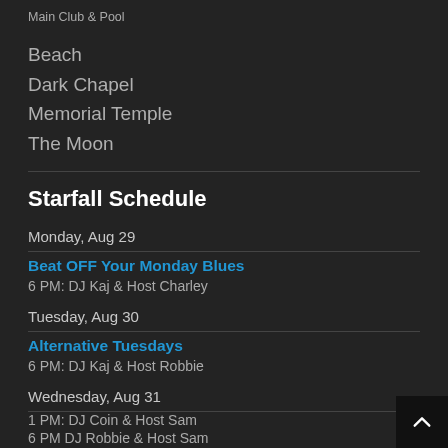Main Club & Pool
Beach
Dark Chapel
Memorial Temple
The Moon
Starfall Schedule
Monday, Aug 29
Beat OFF Your Monday Blues
6 PM: DJ Kaj & Host Charley
Tuesday, Aug 30
Alternative Tuesdays
6 PM: DJ Kaj & Host Robbie
Wednesday, Aug 31
1 PM: DJ Coin & Host Sam
6 PM DJ Robbie & Host Sam